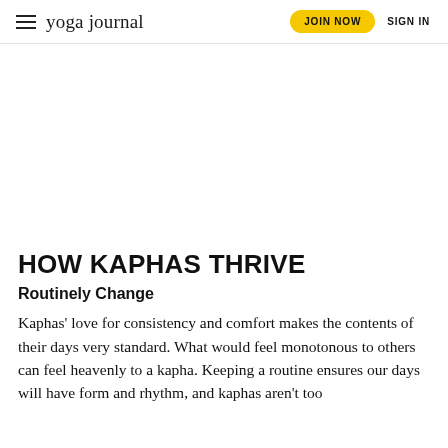yoga journal — JOIN NOW  SIGN IN
HOW KAPHAS THRIVE
Routinely Change
Kaphas' love for consistency and comfort makes the contents of their days very standard. What would feel monotonous to others can feel heavenly to a kapha. Keeping a routine ensures our days will have form and rhythm, and kaphas aren't too